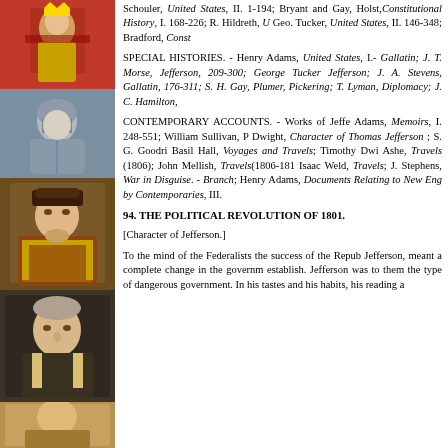[Figure (illustration): Painting of a figure in red and gold, possibly a religious or classical scene]
[Figure (illustration): Painting of a warrior in armor, classical or Renaissance style]
[Figure (illustration): Portrait painting of Henry VIII or similar Tudor-era king in ornate clothing]
[Figure (illustration): Portrait painting of a military officer or nobleman]
[Figure (illustration): Partial portrait painting, bottom cropped]
Schouler, United States, II. 1-194; Bryant and Gay, Holst, Constitutional History, I. 168-226; R. Hildreth, U Geo. Tucker, United States, II. 146-348; Bradford, Const
SPECIAL HISTORIES. - Henry Adams, United States, I.- Gallatin; J. T. Morse, Jefferson, 209-300; George Tucker Jefferson; J. A. Stevens, Gallatin, 176-311; S. H. Gay, Plumer, Pickering; T. Lyman, Diplomacy; J. C. Hamilton,
CONTEMPORARY ACCOUNTS. - Works of Jeffe Adams, Memoirs, I. 248-551; William Sullivan, P Dwight, Character of Thomas Jefferson ; S. G. Goodri Basil Hall, Voyages and Travels; Timothy Dwi Ashe, Travels (1806); John Mellish, Travels(1806-181 Isaac Weld, Travels; J. Stephens, War in Disguise. - Branch; Henry Adams, Documents Relating to New Eng by Contemporaries, III.
94. THE POLITICAL REVOLUTION OF 1801.
[Character of Jefferson.]
To the mind of the Federalists the success of the Repub Jefferson, meant a complete change in the governm establish. Jefferson was to them the type of dangerous government. In his tastes and his habits, his reading a